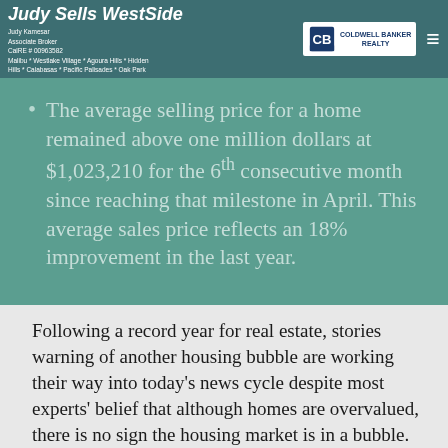Judy Sells WestSide | Judy Kamesar, Associate Broker, CalRE # 00963582, Malibu * Westlake Village * Agoura Hills * Hidden Hills * Calabasas * Pacific Palisades * Oak Park | Coldwell Banker Realty
The average selling price for a home remained above one million dollars at $1,023,210 for the 6th consecutive month since reaching that milestone in April. This average sales price reflects an 18% improvement in the last year.
Following a record year for real estate, stories warning of another housing bubble are working their way into today's news cycle despite most experts' belief that although homes are overvalued, there is no sign the housing market is in a bubble. Predatory lending practices that contributed to the housing crash of 2008 are not an element of this market, and the current market should balance naturally over the next few months.